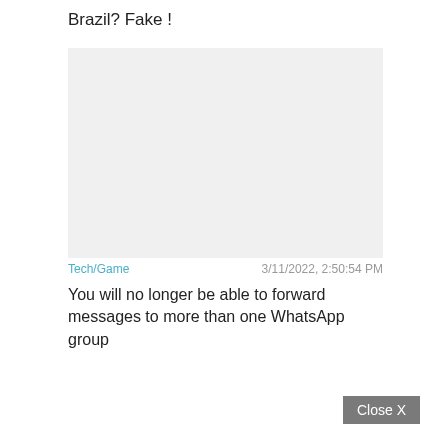Brazil? Fake !
[Figure (other): A large light gray rectangle placeholder image area]
Tech/Game    3/11/2022, 2:50:54 PM
You will no longer be able to forward messages to more than one WhatsApp group
Close X